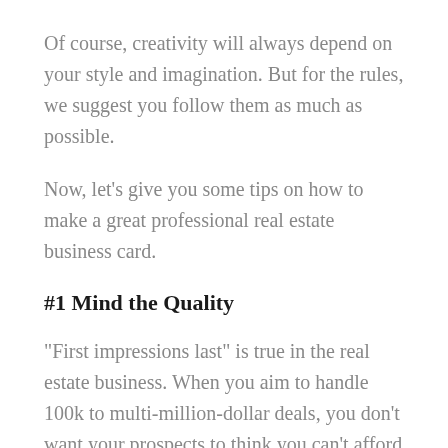Of course, creativity will always depend on your style and imagination. But for the rules, we suggest you follow them as much as possible.
Now, let's give you some tips on how to make a great professional real estate business card.
#1 Mind the Quality
“First impressions last” is true in the real estate business. When you aim to handle 100k to multi-million-dollar deals, you don’t want your prospects to think you can’t afford a quality-made business card.
Here’s what you have to watch out on for real